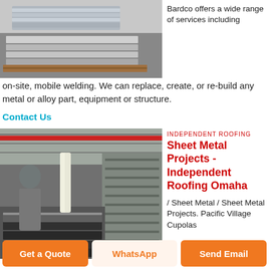[Figure (photo): Stacked metal sheets or panels in a warehouse/storage setting, viewed from the side with wooden pallets visible]
Bardco offers a wide range of services including on-site, mobile welding. We can replace, create, or re-build any metal or alloy part, equipment or structure.
Contact Us
[Figure (photo): Industrial warehouse with a worker in gray shirt handling large stacked sheet metal panels suspended by straps from overhead crane]
Sheet Metal Projects - Independent Roofing Omaha
/ Sheet Metal / Sheet Metal Projects. Pacific Village Cupolas